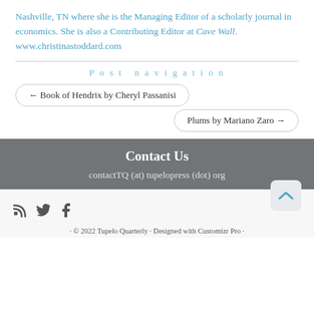Nashville, TN where she is the Managing Editor of a scholarly journal in economics. She is also a Contributing Editor at Cave Wall. www.christinastoddard.com
Post navigation
← Book of Hendrix by Cheryl Passanisi
Plums by Mariano Zaro →
Contact Us
contactTQ (at) tupelopress (dot) org
© 2022 Tupelo Quarterly · Designed with Customizr Pro ·